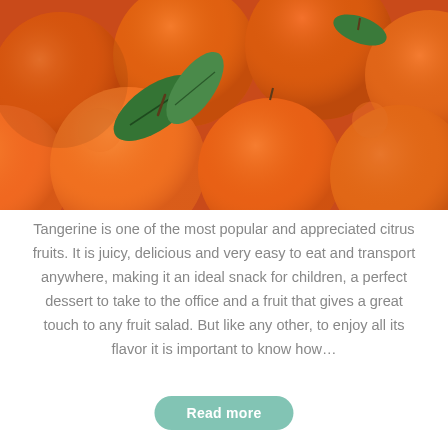[Figure (photo): Close-up photograph of a pile of bright orange tangerines with green leaves and stems visible]
Tangerine is one of the most popular and appreciated citrus fruits. It is juicy, delicious and very easy to eat and transport anywhere, making it an ideal snack for children, a perfect dessert to take to the office and a fruit that gives a great touch to any fruit salad. But like any other, to enjoy all its flavor it is important to know how...
Read more